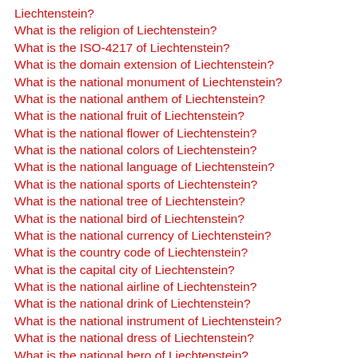Liechtenstein?
What is the religion of Liechtenstein?
What is the ISO-4217 of Liechtenstein?
What is the domain extension of Liechtenstein?
What is the national monument of Liechtenstein?
What is the national anthem of Liechtenstein?
What is the national fruit of Liechtenstein?
What is the national flower of Liechtenstein?
What is the national colors of Liechtenstein?
What is the national language of Liechtenstein?
What is the national sports of Liechtenstein?
What is the national tree of Liechtenstein?
What is the national bird of Liechtenstein?
What is the national currency of Liechtenstein?
What is the country code of Liechtenstein?
What is the capital city of Liechtenstein?
What is the national airline of Liechtenstein?
What is the national drink of Liechtenstein?
What is the national instrument of Liechtenstein?
What is the national dress of Liechtenstein?
What is the national hero of Liechtenstein?